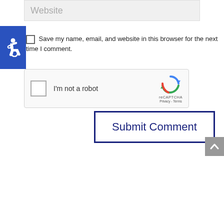[Figure (screenshot): Website text input field with placeholder text 'Website' on grey background]
[Figure (illustration): Accessibility icon (wheelchair symbol in white on blue square background)]
Save my name, email, and website in this browser for the next time I comment.
[Figure (screenshot): reCAPTCHA widget with checkbox labeled 'I'm not a robot' and reCAPTCHA logo with Privacy - Terms links]
[Figure (screenshot): Submit Comment button with dark navy border on white background]
[Figure (screenshot): Grey scroll-to-top button with upward chevron arrow]